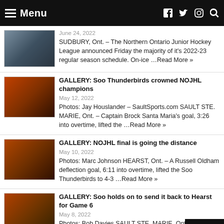Menu
June 24, 2022 SUDBURY, Ont. – The Northern Ontario Junior Hockey League announced Friday the majority of it's 2022-23 regular season schedule. On-ice ...Read More »
GALLERY: Soo Thunderbirds crowned NOJHL champions
May 12, 2022 Photos: Jay Houslander – SaultSports.com SAULT STE. MARIE, Ont. – Captain Brock Santa Maria's goal, 3:26 into overtime, lifted the ...Read More »
GALLERY: NOJHL final is going the distance
May 10, 2022 Photos: Marc Johnson HEARST, Ont. – A Russell Oldham deflection goal, 6:11 into overtime, lifted the Soo Thunderbirds to 4-3 ...Read More »
GALLERY: Soo holds on to send it back to Hearst for Game 6
May 8, 2022 Photos: Bob Davies SAULT STE. MARIE, Ont. – The Soo Thunderbirds struck early and never trailed, but had to hold ...Rea